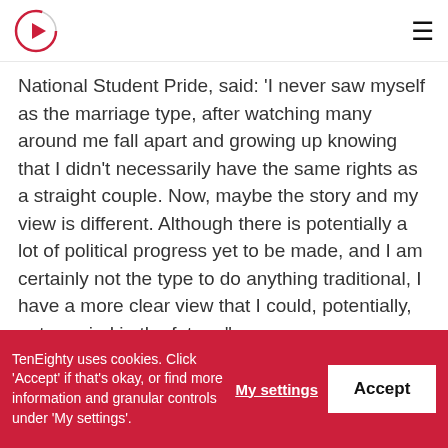[Logo] TenEighty [Hamburger menu]
National Student Pride, said: 'I never saw myself as the marriage type, after watching many around me fall apart and growing up knowing that I didn't necessarily have the same rights as a straight couple. Now, maybe the story and my view is different. Although there is potentially a lot of political progress yet to be made, and I am certainly not the type to do anything traditional, I have a more clear view that I could, potentially, get married in the future.'
Mawaan recently fronted How Gay Is Pakistan?, a BBC Three documentary, which looked at what is life like for LGBTQ+ Pakistanis.
TenEighty uses cookies. Click 'Accept' if that's okay, or find more information and granular controls under 'My settings'.  My settings  Accept